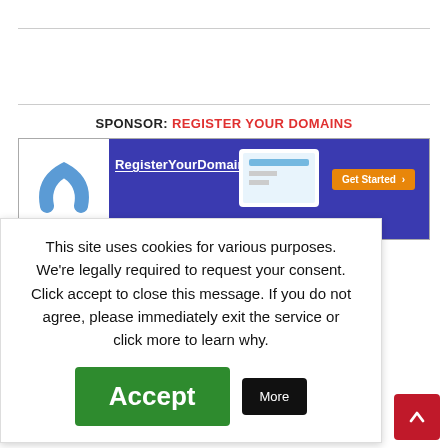[Figure (screenshot): Website cookie consent overlay with sponsor banner, showing 'SPONSOR: REGISTER YOUR DOMAINS' text, a blue ad banner for RegisterYourDomains.com, a cookie consent popup with Accept and More buttons, partial article text about snails found on containers, and a red scroll-to-top button.]